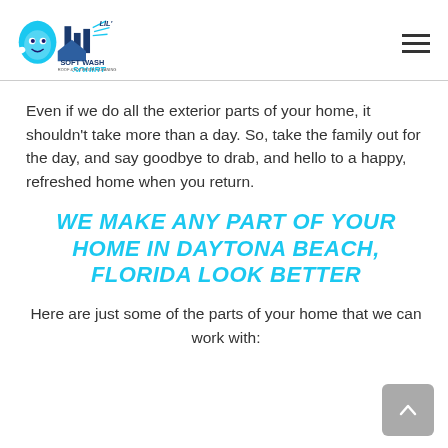Lil' Squirt Soft Wash - Roof & Exterior Cleaning
Even if we do all the exterior parts of your home, it shouldn't take more than a day. So, take the family out for the day, and say goodbye to drab, and hello to a happy, refreshed home when you return.
WE MAKE ANY PART OF YOUR HOME IN DAYTONA BEACH, FLORIDA LOOK BETTER
Here are just some of the parts of your home that we can work with: